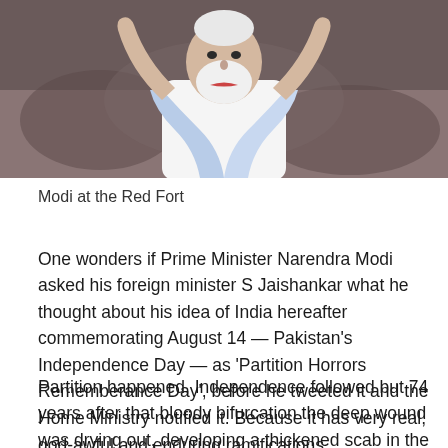[Figure (photo): Photo of Prime Minister Narendra Modi at the Red Fort with arms raised, wearing a white kurta and blue scarf, photographed against a blurred background.]
Modi at the Red Fort
One wonders if Prime Minister Narendra Modi asked his foreign minister S Jaishankar what he thought about his idea of India hereafter commemorating August 14 — Pakistan's Independence Day — as 'Partition Horrors Rememberance Day', before he tweeted it and the Home Ministry notified it. Because it has very real, god-awful and enduring ramifications.
Partition happened, Independence followed but 74 years after that bloody bifurcation the deep wound was drying out, developing a thickened scab in the process of perhaps leaving a small scar indicating the psychological